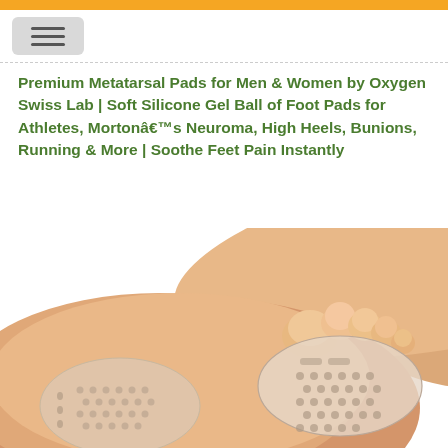Premium Metatarsal Pads for Men & Women by Oxygen Swiss Lab | Soft Silicone Gel Ball of Foot Pads for Athletes, Mortonâ€™s Neuroma, High Heels, Bunions, Running & More | Soothe Feet Pain Instantly
[Figure (photo): Close-up photo of two human feet, one on top of the other, with clear/beige silicone metatarsal gel pads worn on the ball-of-foot area showing honeycomb texture pattern]